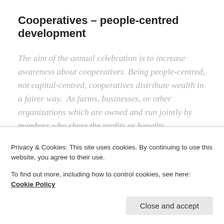Cooperatives – people-centred development
The aim of the annual celebration is to increase awareness about cooperatives. Being people-centred, not capital-centred, cooperatives distribute wealth in a fairer way.  As farms, businesses, or other organizations which are owned and run jointly by members who share the profits or benefits, cooperatives are committed to the sustainable development of their communities, environmentally, socially as well as economically. They support community
Privacy & Cookies: This site uses cookies. By continuing to use this website, you agree to their use.
To find out more, including how to control cookies, see here: Cookie Policy
Close and accept